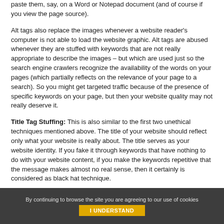paste them, say, on a Word or Notepad document (and of course if you view the page source).
Alt tags also replace the images whenever a website reader's computer is not able to load the website graphic. Alt tags are abused whenever they are stuffed with keywords that are not really appropriate to describe the images – but which are used just so the search engine crawlers recognize the availability of the words on your pages (which partially reflects on the relevance of your page to a search). So you might get targeted traffic because of the presence of specific keywords on your page, but then your website quality may not really deserve it.
Title Tag Stuffing: This is also similar to the first two unethical techniques mentioned above. The title of your website should reflect only what your website is really about. The title serves as your website identity. If you fake it through keywords that have nothing to do with your website content, if you make the keywords repetitive that the message makes almost no real sense, then it certainly is considered as black hat technique.
You should never get targeted web traffic through the ways mentioned above. The
By continuing to browse the site you are agreeing to our use of cookies I UNDERSTAND